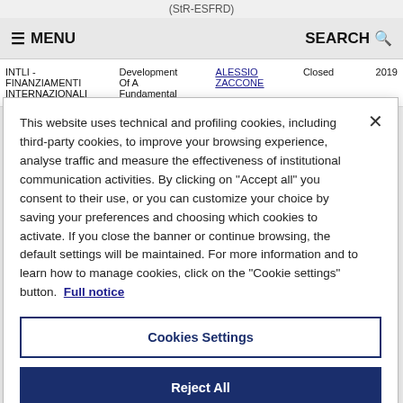(StR-ESFRD)
≡ MENU   SEARCH 🔍
|  | Development | ALESSIO ZACCONE | Closed | 2019 |
| --- | --- | --- | --- | --- |
| INTLI - FINANZIAMENTI INTERNAZIONALI | Development Of A Fundamental | ALESSIO ZACCONE | Closed | 2019 |
This website uses technical and profiling cookies, including third-party cookies, to improve your browsing experience, analyse traffic and measure the effectiveness of institutional communication activities. By clicking on "Accept all" you consent to their use, or you can customize your choice by saving your preferences and choosing which cookies to activate. If you close the banner or continue browsing, the default settings will be maintained. For more information and to learn how to manage cookies, click on the "Cookie settings" button. Full notice
Cookies Settings
Reject All